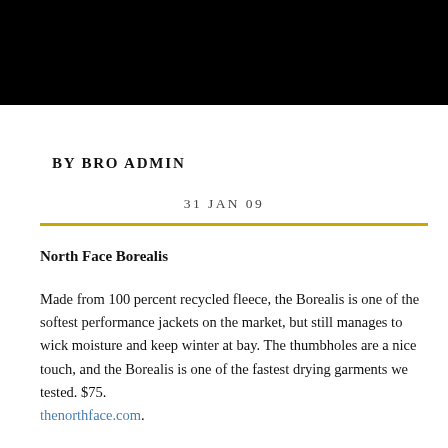[Figure (other): Black header bar at top of page]
BY BRO ADMIN
31 JAN 09
North Face Borealis
Made from 100 percent recycled fleece, the Borealis is one of the softest performance jackets on the market, but still manages to wick moisture and keep winter at bay. The thumbholes are a nice touch, and the Borealis is one of the fastest drying garments we tested. $75. thenorthface.com.